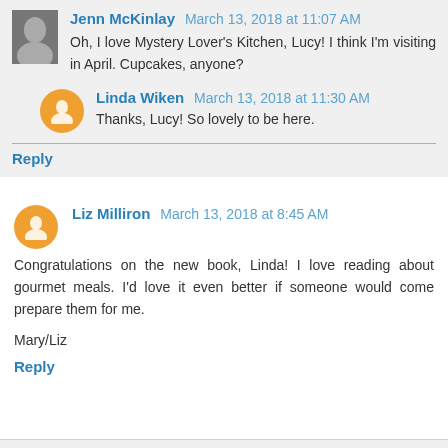Jenn McKinlay March 13, 2018 at 11:07 AM
Oh, I love Mystery Lover's Kitchen, Lucy! I think I'm visiting in April. Cupcakes, anyone?
Linda Wiken March 13, 2018 at 11:30 AM
Thanks, Lucy! So lovely to be here.
Reply
Liz Milliron March 13, 2018 at 8:45 AM
Congratulations on the new book, Linda! I love reading about gourmet meals. I'd love it even better if someone would come prepare them for me.
Mary/Liz
Reply